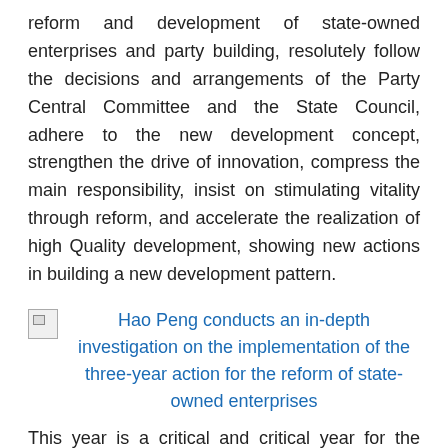reform and development of state-owned enterprises and party building, resolutely follow the decisions and arrangements of the Party Central Committee and the State Council, adhere to the new development concept, strengthen the drive of innovation, compress the main responsibility, insist on stimulating vitality through reform, and accelerate the realization of high Quality development, showing new actions in building a new development pattern.
[Figure (photo): Broken image placeholder for photo of Hao Peng conducting an in-depth investigation on the implementation of the three-year action for the reform of state-owned enterprises]
Hao Peng conducts an in-depth investigation on the implementation of the three-year action for the reform of state-owned enterprises
This year is a critical and critical year for the three-year reform of state-owned enterprises, and it is very important